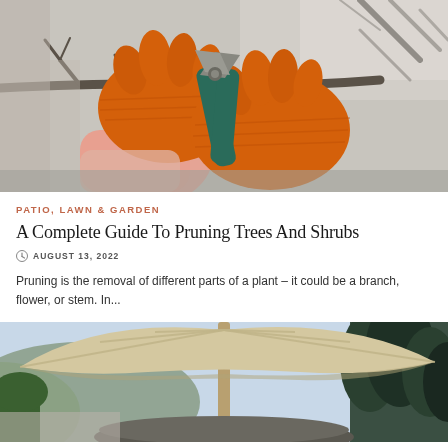[Figure (photo): Close-up photo of hands wearing orange knitted gloves using pruning shears to cut a bare tree branch in winter]
PATIO, LAWN & GARDEN
A Complete Guide To Pruning Trees And Shrubs
AUGUST 13, 2022
Pruning is the removal of different parts of a plant – it could be a branch, flower, or stem. In...
[Figure (photo): Outdoor patio scene with a large beige patio umbrella open, with garden and trees visible in the background]